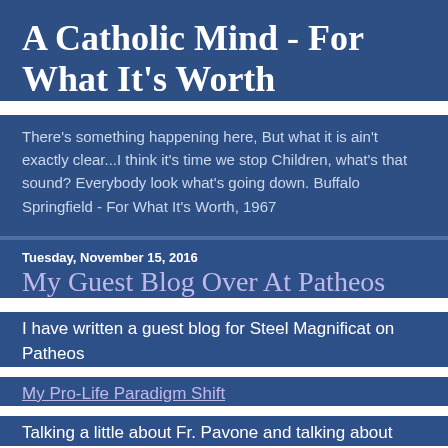A Catholic Mind - For What It's Worth
There's something happening here, But what it is ain't exactly clear...I think it's time we stop Children, what's that sound? Everybody look what's going down. Buffalo Springfield - For What It's Worth, 1967
Tuesday, November 15, 2016
My Guest Blog Over At Patheos
I have written a guest blog for Steel Magnificat on Patheos
My Pro-Life Paradigm Shift
Talking a little about Fr. Pavone and talking about